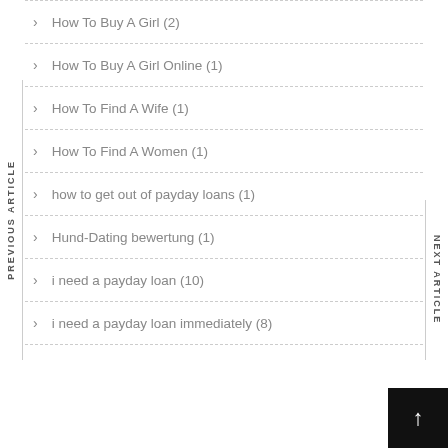How To Buy A Girl (2)
How To Buy A Girl Online (1)
How To Find A Wife (1)
How To Find A Women (1)
how to get out of payday loans (1)
Hund-Dating bewertung (1)
i need a payday loan (10)
i need a payday loan immediately (8)